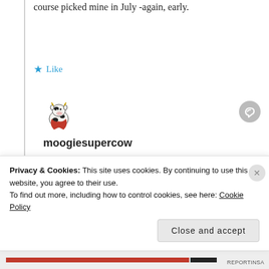course picked mine in July -again, early.
Like
[Figure (illustration): Cartoon cow avatar with red cape, serving as user profile picture for moogiesupercow]
moogiesupercow
DECEMBER 27, 2017 AT 4:14 PM
Well, it's hard to decide in the summer. On the one hand you worry that it's maybe too
Privacy & Cookies: This site uses cookies. By continuing to use this website, you agree to their use.
To find out more, including how to control cookies, see here: Cookie Policy
Close and accept